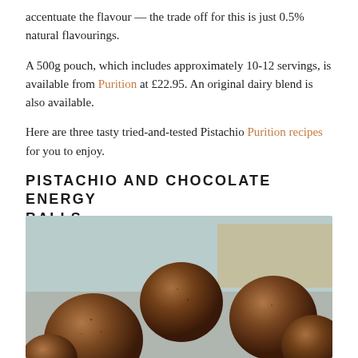accentuate the flavour — the trade off for this is just 0.5% natural flavourings.
A 500g pouch, which includes approximately 10-12 servings, is available from Purition at £22.95. An original dairy blend is also available.
Here are three tasty tried-and-tested Pistachio Purition recipes for you to enjoy.
PISTACHIO AND CHOCOLATE ENERGY BALLS
[Figure (photo): Photo of pistachio and chocolate energy balls — several dark brown cocoa-dusted energy balls arranged on a light blue surface, with warm background tones.]